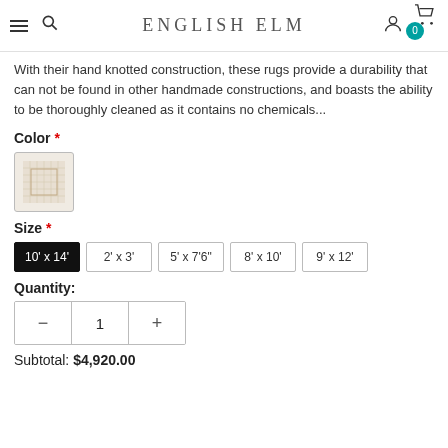ENGLISH ELM
With their hand knotted construction, these rugs provide a durability that can not be found in other handmade constructions, and boasts the ability to be thoroughly cleaned as it contains no chemicals...
Color *
[Figure (photo): Beige/cream rug color swatch thumbnail]
Size *
10' x 14' (selected)
2' x 3'
5' x 7'6"
8' x 10'
9' x 12'
Quantity:
Subtotal: $4,920.00